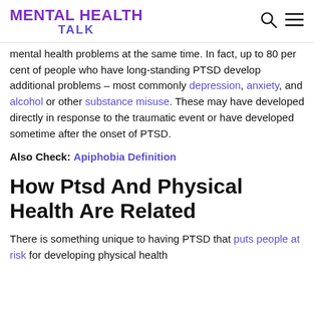MENTAL HEALTH TALK
mental health problems at the same time. In fact, up to 80 per cent of people who have long-standing PTSD develop additional problems – most commonly depression, anxiety, and alcohol or other substance misuse. These may have developed directly in response to the traumatic event or have developed sometime after the onset of PTSD.
Also Check: Apiphobia Definition
How Ptsd And Physical Health Are Related
There is something unique to having PTSD that puts people at risk for developing physical health problems. A number of the major theories propose that